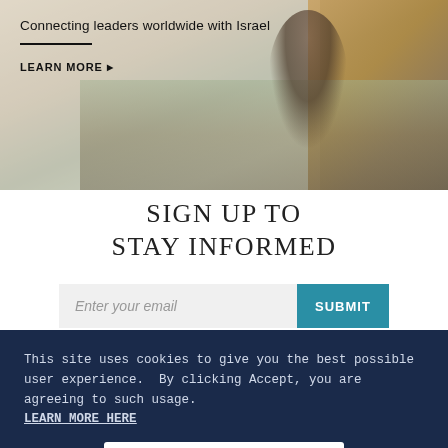[Figure (photo): Hero banner image showing a person photographing an aerial view of an Israeli city/landscape, with a semi-transparent white overlay on the left side]
Connecting leaders worldwide with Israel
LEARN MORE ▶
SIGN UP TO
STAY INFORMED
Enter your email
SUBMIT
This site uses cookies to give you the best possible user experience.  By clicking Accept, you are agreeing to such usage.
LEARN MORE HERE
ACCEPT
No, thanks